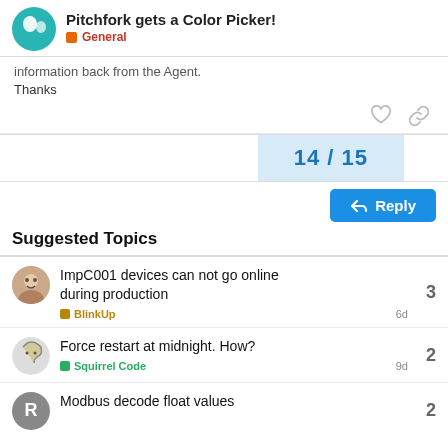Pitchfork gets a Color Picker! — General
information back from the Agent.
Thanks
14 / 15
Reply
Suggested Topics
ImpC001 devices can not go online during production — BlinkUp — 6d — 3
Force restart at midnight. How? — Squirrel Code — 9d — 2
Modbus decode float values — 2